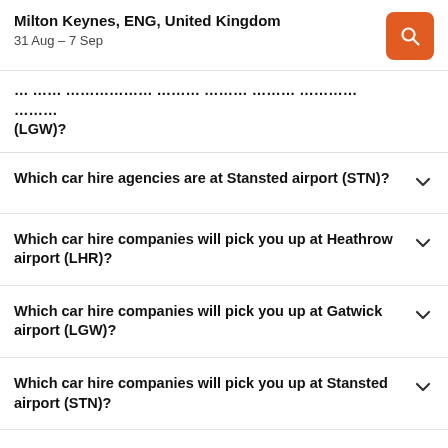Milton Keynes, ENG, United Kingdom
31 Aug – 7 Sep
Which car hire agencies are at Stansted airport (STN)?
Which car hire companies will pick you up at Heathrow airport (LHR)?
Which car hire companies will pick you up at Gatwick airport (LGW)?
Which car hire companies will pick you up at Stansted airport (STN)?
How can I find car hires near me in Milton Keynes?